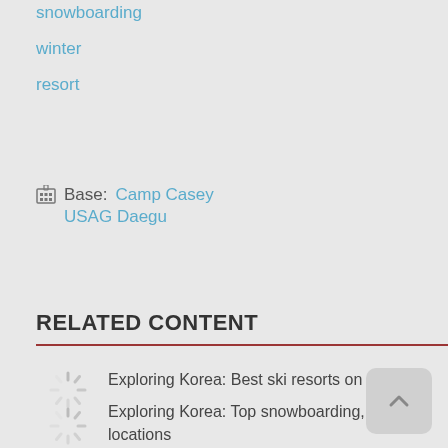snowboarding
winter
resort
Base: Camp Casey USAG Daegu
RELATED CONTENT
Exploring Korea: Best ski resorts on the ROK
Exploring Korea: Top snowboarding, skiing locations